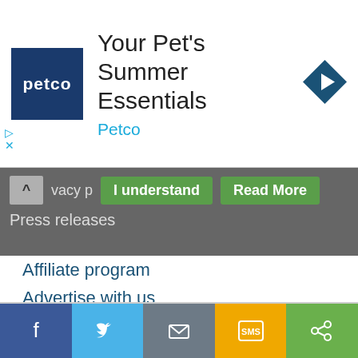[Figure (screenshot): Petco advertisement banner with logo, headline 'Your Pet's Summer Essentials', brand name 'Petco', and navigation arrow icon]
Privacy p... I understand | Read More
Press releases
Affiliate program
Advertise with us
Guest blog posting
Social hub
Sitemap
Contact Us
Follow //
[Figure (infographic): Social share bar with Facebook, Twitter, Email, SMS, and share icons]